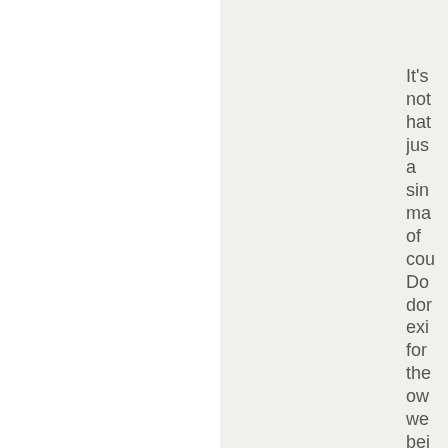It's not hat jus a sin ma of cou Do dor exi for the ow we bei the exi for the